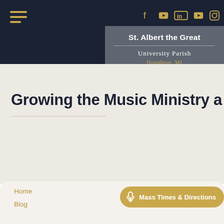[Figure (screenshot): Navigation bar with hamburger menu on left and social media icons (Facebook, YouTube, LinkedIn, YouTube, Instagram) on right, on dark navy background]
St. Albert the Great
University Parish
Houghton, MI
Growing the Music Ministry a
Home
Blog
Mass Times & Directions